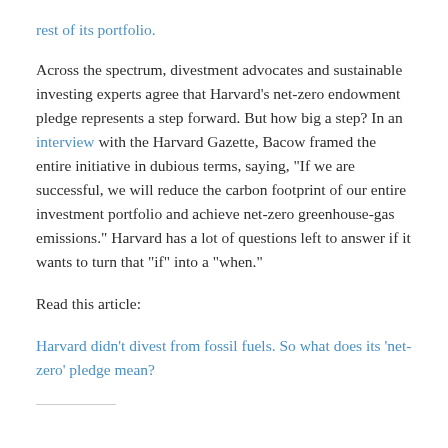rest of its portfolio.
Across the spectrum, divestment advocates and sustainable investing experts agree that Harvard’s net-zero endowment pledge represents a step forward. But how big a step? In an interview with the Harvard Gazette, Bacow framed the entire initiative in dubious terms, saying, “If we are successful, we will reduce the carbon footprint of our entire investment portfolio and achieve net-zero greenhouse-gas emissions.” Harvard has a lot of questions left to answer if it wants to turn that “if” into a “when.”
Read this article:
Harvard didn’t divest from fossil fuels. So what does its ‘net-zero’ pledge mean?